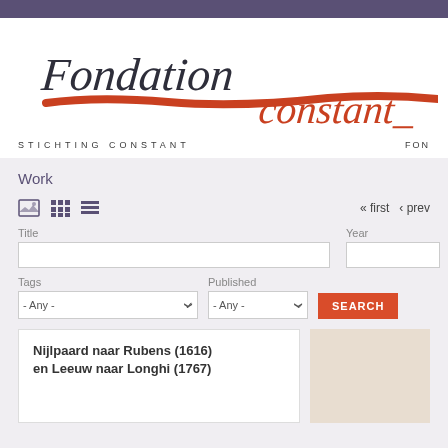[Figure (logo): Fondation Constant / Stichting Constant logo with handwritten-style text and red brushstroke underline]
STICHTING CONSTANT
FON
Work
[Figure (screenshot): View toggle icons: image grid, small grid, list view]
« first  ‹ prev
Title
Year
Tags
Published
SEARCH
Nijlpaard naar Rubens (1616) en Leeuw naar Longhi (1767)